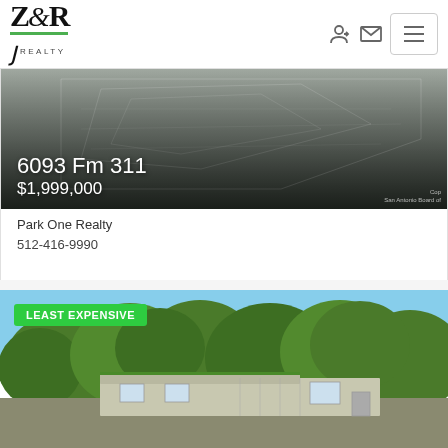[Figure (screenshot): Z&R Realty logo with green underline and script flourish]
[Figure (photo): Blueprint/survey map overhead view with dark gradient overlay showing property at 6093 Fm 311]
6093 Fm 311
$1,999,000
Cop
San Antonio Board of
Park One Realty
512-416-9990
[Figure (photo): Photo of trees and mobile/manufactured home with green badge reading LEAST EXPENSIVE]